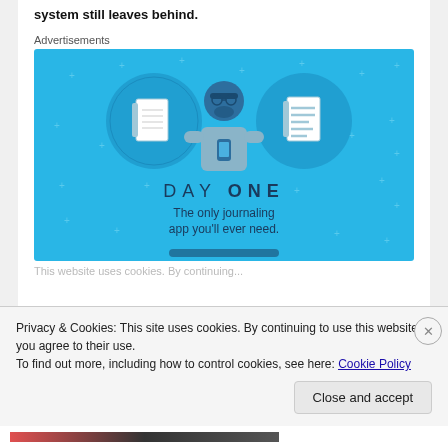system still leaves behind.
Advertisements
[Figure (illustration): Day One journaling app advertisement. Blue background with illustration of a person holding a phone, flanked by two circular icons showing a notebook and a lined document. Text reads 'DAY ONE' and 'The only journaling app you'll ever need.']
(partially visible bottom text)
Privacy & Cookies: This site uses cookies. By continuing to use this website, you agree to their use.
To find out more, including how to control cookies, see here: Cookie Policy
Close and accept